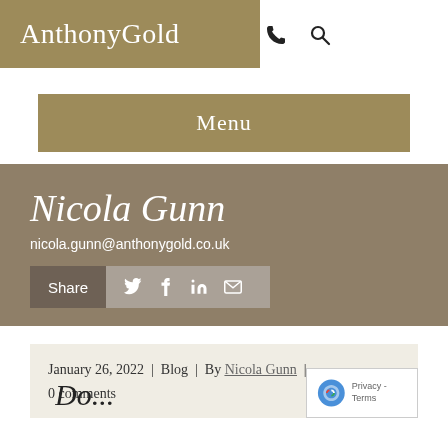AnthonyGold
Menu
Nicola Gunn
nicola.gunn@anthonygold.co.uk
Share
January 26, 2022  |  Blog  |  By Nicola Gunn  |  0 comments